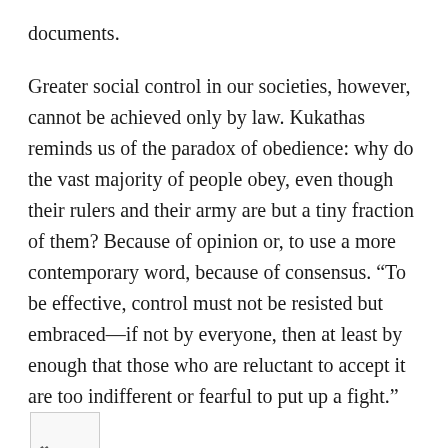documents.
Greater social control in our societies, however, cannot be achieved only by law. Kukathas reminds us of the paradox of obedience: why do the vast majority of people obey, even though their rulers and their army are but a tiny fraction of them? Because of opinion or, to use a more contemporary word, because of consensus. “To be effective, control must not be resisted but embraced—if not by everyone, then at least by enough that those who are reluctant to accept it are too indifferent or fearful to put up a fight.”
Freedom comes in degrees. Kukathas reminds us